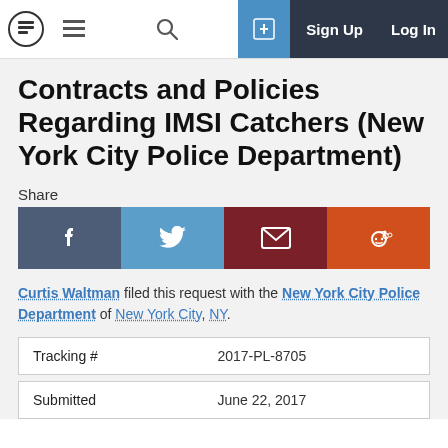Navigation bar with logo, hamburger menu, search, share icon, Sign Up, Log In
Contracts and Policies Regarding IMSI Catchers (New York City Police Department)
Share
[Figure (infographic): Social share buttons: Facebook (dark blue-grey), Twitter (blue), Email (dark red), Reddit (orange)]
Curtis Waltman filed this request with the New York City Police Department of New York City, NY.
| Tracking # | 2017-PL-8705 |
| --- | --- |
| Submitted | June 22, 2017 |
| --- | --- |